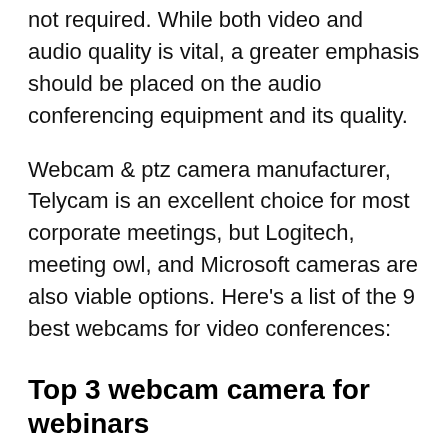not required. While both video and audio quality is vital, a greater emphasis should be placed on the audio conferencing equipment and its quality.
Webcam & ptz camera manufacturer, Telycam is an excellent choice for most corporate meetings, but Logitech, meeting owl, and Microsoft cameras are also viable options. Here's a list of the 9 best webcams for video conferences:
Top 3 webcam camera for webinars
Experts claim that the tiny cameras installed into computers are incapable of delivering the high-quality content required for webinars. It is preferable to